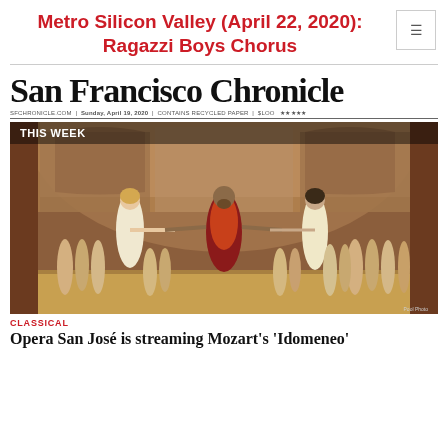Metro Silicon Valley (April 22, 2020): Ragazzi Boys Chorus
[Figure (photo): San Francisco Chronicle newspaper front page showing an opera performance photo. The headline area shows 'THIS WEEK' and a photo of an opera stage scene with three main performers in ancient costumes with arms outstretched, surrounded by chorus members, in front of an ornate classical stage set.]
CLASSICAL
Opera San José is streaming Mozart's 'Idomeneo'